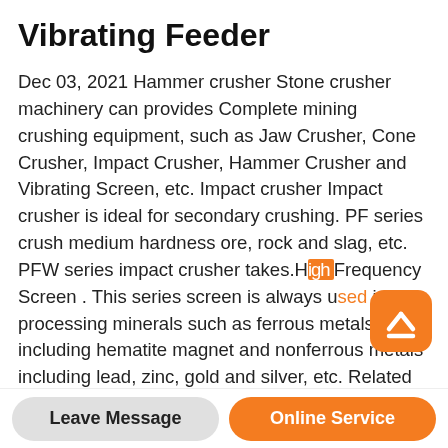Vibrating Feeder
Dec 03, 2021 Hammer crusher Stone crusher machinery can provides Complete mining crushing equipment, such as Jaw Crusher, Cone Crusher, Impact Crusher, Hammer Crusher and Vibrating Screen, etc. Impact crusher Impact crusher is ideal for secondary crushing. PF series crush medium hardness ore, rock and slag, etc. PFW series impact crusher takes.High Frequency Screen . This series screen is always used in processing minerals such as ferrous metals including hematite magnet and nonferrous metals including lead, zinc, gold and silver, etc. Related Equipments two PE600 900 jaw crushers, two impact crushers, two cone crushers, two sand makers and
Leave Message
Online Service